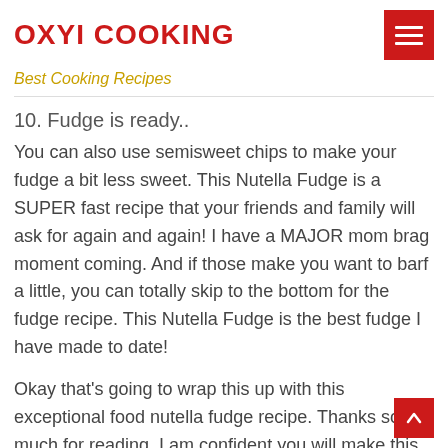OXYI COOKING
Best Cooking Recipes
10. Fudge is ready..
You can also use semisweet chips to make your fudge a bit less sweet. This Nutella Fudge is a SUPER fast recipe that your friends and family will ask for again and again! I have a MAJOR mom brag moment coming. And if those make you want to barf a little, you can totally skip to the bottom for the fudge recipe. This Nutella Fudge is the best fudge I have made to date!
Okay that’s going to wrap this up with this exceptional food nutella fudge recipe. Thanks so much for reading. I am confident you will make this at home. There is gonna be